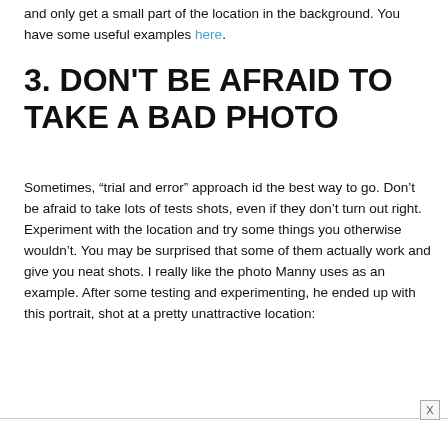and only get a small part of the location in the background. You have some useful examples here.
3. DON'T BE AFRAID TO TAKE A BAD PHOTO
Sometimes, “trial and error” approach id the best way to go. Don’t be afraid to take lots of tests shots, even if they don’t turn out right. Experiment with the location and try some things you otherwise wouldn’t. You may be surprised that some of them actually work and give you neat shots. I really like the photo Manny uses as an example. After some testing and experimenting, he ended up with this portrait, shot at a pretty unattractive location: